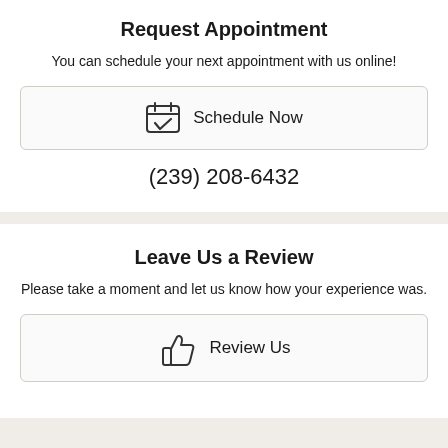Request Appointment
You can schedule your next appointment with us online!
[Figure (other): Button with calendar-checkmark icon and text 'Schedule Now']
(239) 208-6432
Leave Us a Review
Please take a moment and let us know how your experience was.
[Figure (other): Button with thumbs-up icon and text 'Review Us']